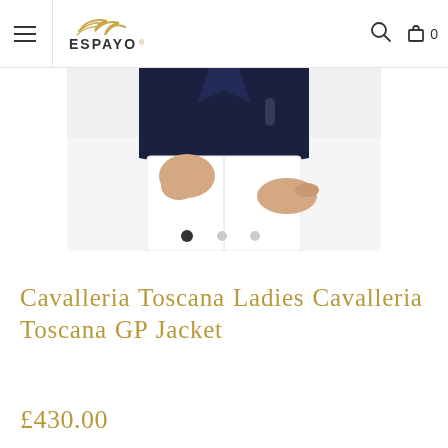ESPAYO — navigation header with hamburger menu, logo, search icon, and cart (0)
[Figure (photo): Product photo showing a person wearing a navy GP jacket with white riding breeches, cropped at waist. Image carousel with 3 dots, first dot active.]
Cavalleria Toscana Ladies Cavalleria Toscana GP Jacket
£430.00